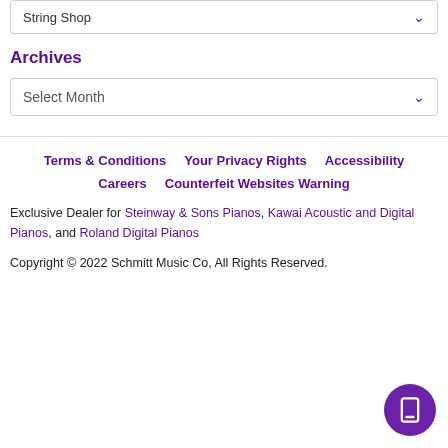String Shop
Archives
Select Month
Terms & Conditions   Your Privacy Rights   Accessibility   Careers   Counterfeit Websites Warning
Exclusive Dealer for Steinway & Sons Pianos, Kawai Acoustic and Digital Pianos, and Roland Digital Pianos
Copyright © 2022 Schmitt Music Co, All Rights Reserved.
[Figure (illustration): Purple circular button with mobile phone icon]